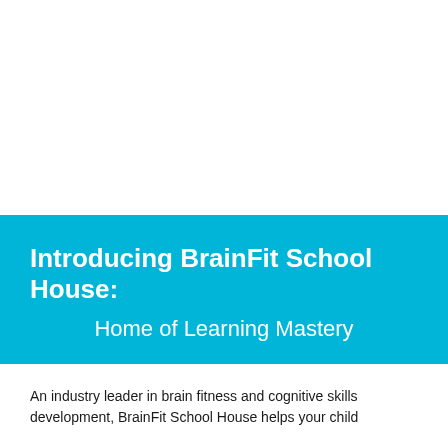[Figure (photo): White top area — likely image placeholder or cover photo area, blank in this view]
Introducing BrainFit School House: Home of Learning Mastery
An industry leader in brain fitness and cognitive skills development, BrainFit School House helps your child...